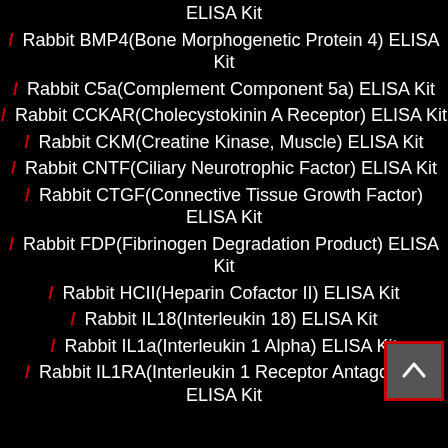ELISA Kit
/ Rabbit BMP4(Bone Morphogenetic Protein 4) ELISA Kit
/ Rabbit C5a(Complement Component 5a) ELISA Kit
/ Rabbit CCKAR(Cholecystokinin A Receptor) ELISA Kit
/ Rabbit CKM(Creatine Kinase, Muscle) ELISA Kit
/ Rabbit CNTF(Ciliary Neurotrophic Factor) ELISA Kit
/ Rabbit CTGF(Connective Tissue Growth Factor) ELISA Kit
/ Rabbit FDP(Fibrinogen Degradation Product) ELISA Kit
/ Rabbit HCII(Heparin Cofactor II) ELISA Kit
/ Rabbit IL18(Interleukin 18) ELISA Kit
/ Rabbit IL1a(Interleukin 1 Alpha) ELISA Kit
/ Rabbit IL1RA(Interleukin 1 Receptor Antagonist) ELISA Kit